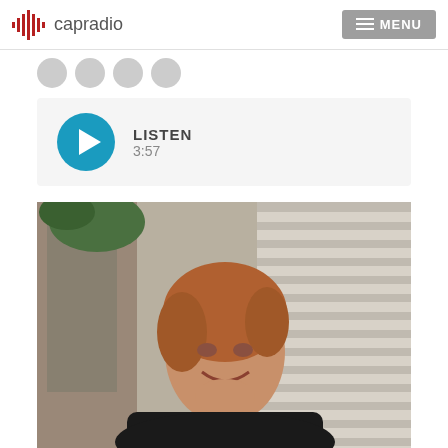capradio | MENU
[Figure (screenshot): Social media sharing icons (four circular grey buttons)]
[Figure (screenshot): Audio player widget with teal play button, LISTEN label and duration 3:57]
[Figure (photo): Portrait photo of a smiling middle-aged woman with short auburn hair, wearing a dark top, resting her chin on her hand, in a bright home interior setting]